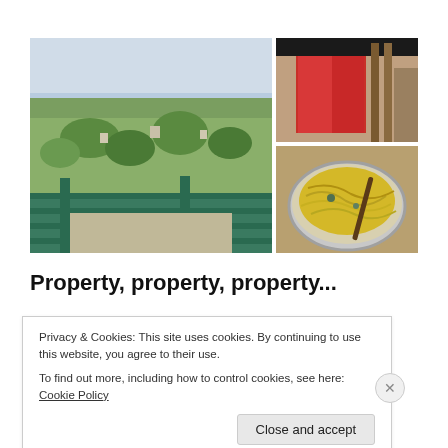[Figure (photo): Three photos arranged in a grid: a large landscape photo showing a hillside town view with green metal railings in foreground, a top-right photo showing a red/pink fabric structure or tent, and a bottom-right photo showing a bowl of noodles with wooden spoon.]
Property, property, property...
Privacy & Cookies: This site uses cookies. By continuing to use this website, you agree to their use.
To find out more, including how to control cookies, see here: Cookie Policy
Close and accept